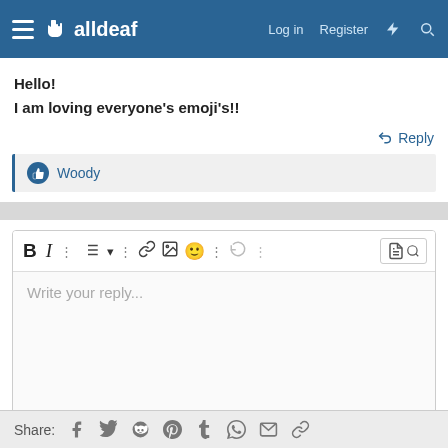alldeaf — Log in  Register
Hello!
I am loving everyone's emoji's!!
↩ Reply
👍 Woody
[Figure (screenshot): Rich text editor toolbar with Bold, Italic, more options, list, link, image, emoji, undo, and preview buttons, plus a 'Write your reply...' placeholder text area]
↩ Post reply
Share: